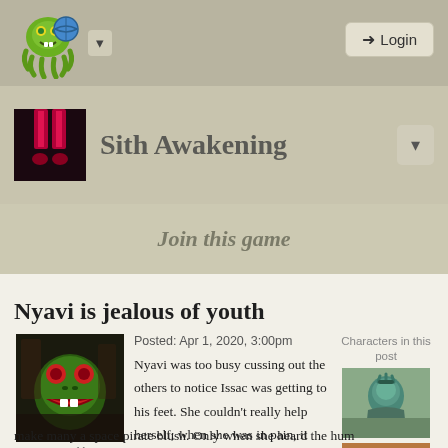Login
Sith Awakening
Join this game
Nyavi is jealous of youth
Posted: Apr 1, 2020, 3:00pm
Posted by GardensTale
Characters in this post
Nyavi was too busy cussing out the others to notice Issac was getting to his feet. She couldn't really help herself; when she was in pain, it automatically translated to a stream of curses that would make many a space pirate blush. Only when she heard the hum